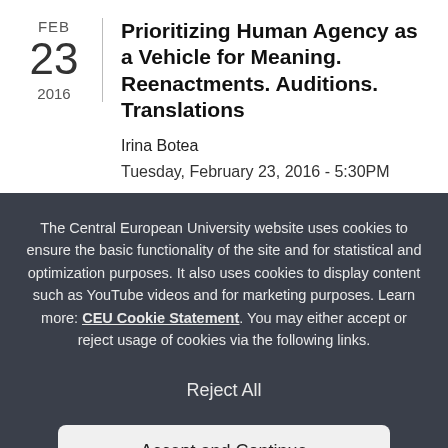Prioritizing Human Agency as a Vehicle for Meaning. Reenactments. Auditions. Translations
Irina Botea
Tuesday, February 23, 2016 - 5:30PM
The Central European University website uses cookies to ensure the basic functionality of the site and for statistical and optimization purposes. It also uses cookies to display content such as YouTube videos and for marketing purposes. Learn more: CEU Cookie Statement. You may either accept or reject usage of cookies via the following links.
Reject All
Accept and Continue